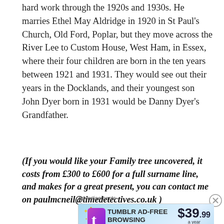hard work through the 1920s and 1930s. He marries Ethel May Aldridge in 1920 in St Paul's Church, Old Ford, Poplar, but they move across the River Lee to Custom House, West Ham, in Essex, where their four children are born in the ten years between 1921 and 1931. They would see out their years in the Docklands, and their youngest son John Dyer born in 1931 would be Danny Dyer's Grandfather.
(If you would like your Family tree uncovered, it costs from £300 to £600 for a full surname line, and makes for a great present, you can contact me on paulmcneil@timedetectives.co.uk )
Advertisements
[Figure (other): Tumblr Ad-Free Browsing advertisement banner showing $39.99 a year or $4.99 a month with Tumblr logo]